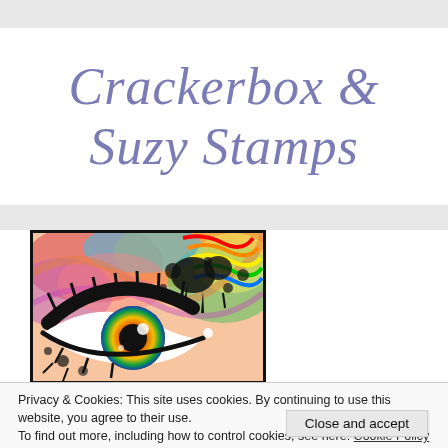[Figure (logo): Crackerbox & Suzy Stamps logo in cursive/italic purple-blue text]
[Figure (illustration): Colorful artwork of a stylized eye with rainbow splatter background, black ink splashes, and vivid iris, framed in a black border]
Privacy & Cookies: This site uses cookies. By continuing to use this website, you agree to their use.
To find out more, including how to control cookies, see here: Cookie Policy
Close and accept